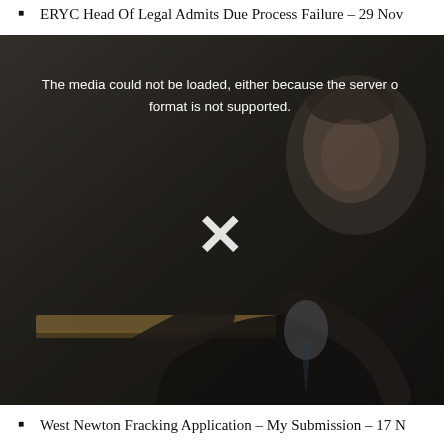ERYC Head Of Legal Admits Due Process Failure – 29 Nov
[Figure (photo): Video player showing a man in a suit gesturing with hands, with a media error overlay reading 'The media could not be loaded, either because the server or format is not supported.' and a white X dismiss button.]
West Newton Fracking Application – My Submission – 17 N